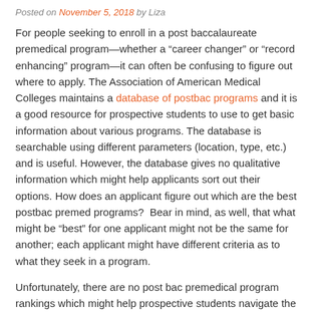Posted on November 5, 2018 by Liza
For people seeking to enroll in a post baccalaureate premedical program—whether a “career changer” or “record enhancing” program—it can often be confusing to figure out where to apply. The Association of American Medical Colleges maintains a database of postbac programs and it is a good resource for prospective students to use to get basic information about various programs. The database is searchable using different parameters (location, type, etc.) and is useful. However, the database gives no qualitative information which might help applicants sort out their options. How does an applicant figure out which are the best postbac premed programs?  Bear in mind, as well, that what might be “best” for one applicant might not be the same for another; each applicant might have different criteria as to what they seek in a program.
Unfortunately, there are no post bac premedical program rankings which might help prospective students navigate the best postbac premed programs. Instead, applicants have to do the homework on their own to figure out which postbac premed programs—in their eyes, at least—hold the most sway and are most appealing. Here are some elements to consider when weighing programs: